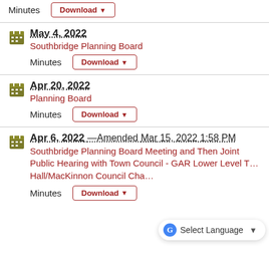Minutes  Download ▼
May 4, 2022 – Southbridge Planning Board – Minutes Download ▼
Apr 20, 2022 – Planning Board – Minutes Download ▼
Apr 6, 2022 —Amended Mar 15, 2022 1:58 PM – Southbridge Planning Board Meeting and Then Joint Public Hearing with Town Council - GAR Lower Level T... Hall/MacKinnon Council Cha... – Minutes Download ▼